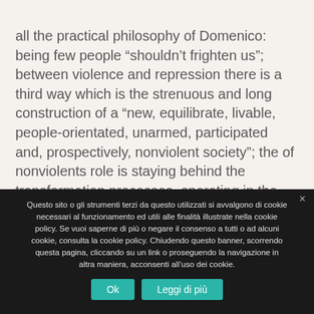all the practical philosophy of Domenico: being few people “shouldn’t frighten us”; between violence and repression there is a third way which is the strenuous and long construction of a “new, equilibrate, livable, people-orientated, unarmed, participated and, prospectively, nonviolent society”; the of nonviolents role is staying behind the transformation processes, operating in the basic reality they belong to, having as reference the “unheard prophets”, who were able to indicate
Questo sito o gli strumenti terzi da questo utilizzati si avvalgono di cookie necessari al funzionamento ed utili alle finalità illustrate nella cookie policy. Se vuoi saperne di più o negare il consenso a tutti o ad alcuni cookie, consulta la cookie policy. Chiudendo questo banner, scorrendo questa pagina, cliccando su un link o proseguendo la navigazione in altra maniera, acconsenti all’uso dei cookie.